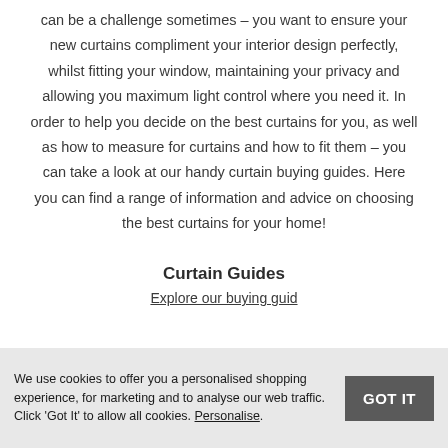can be a challenge sometimes – you want to ensure your new curtains compliment your interior design perfectly, whilst fitting your window, maintaining your privacy and allowing you maximum light control where you need it. In order to help you decide on the best curtains for you, as well as how to measure for curtains and how to fit them – you can take a look at our handy curtain buying guides. Here you can find a range of information and advice on choosing the best curtains for your home!
Curtain Guides
Explore our buying guid
We use cookies to offer you a personalised shopping experience, for marketing and to analyse our web traffic. Click 'Got It' to allow all cookies. Personalise.